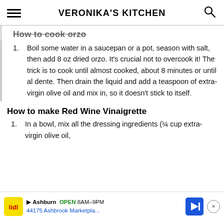VERONIKA'S KITCHEN
How to cook orzo
Boil some water in a saucepan or a pot, season with salt, then add 8 oz dried orzo. It's crucial not to overcook it! The trick is to cook until almost cooked, about 8 minutes or until al dente. Then drain the liquid and add a teaspoon of extra-virgin olive oil and mix in, so it doesn't stick to itself.
How to make Red Wine Vinaigrette
In a bowl, mix all the dressing ingredients (¼ cup extra-virgin olive oil,
Ashburn  OPEN  8AM–9PM  44175 Ashbrook Marketpla...